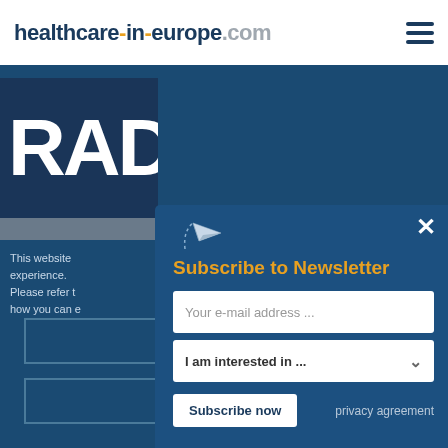healthcare-in-europe.com
[Figure (logo): RAD text logo block in dark navy blue]
This website ... experience. Please refer t... how you can e...
[Figure (screenshot): Subscribe to Newsletter modal popup with email input, interest dropdown, Subscribe now button, and privacy agreement link. Close X button in top right.]
Refuse cookies
Accept cookies